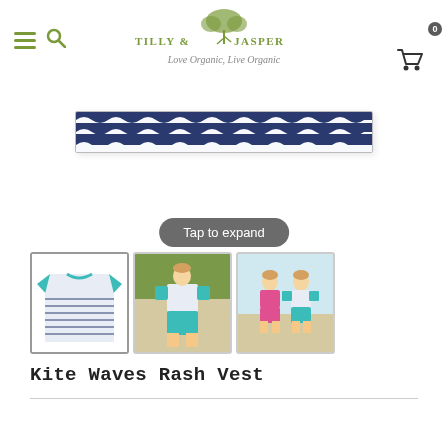Tilly & Jasper — Love Organic, Live Organic
[Figure (photo): Close-up of a navy and white wave/scallop pattern fabric strip — the product detail view of the Kite Waves Rash Vest, shown cropped as a horizontal band.]
Tap to expand
[Figure (photo): Thumbnail 1: Product flat-lay of the Kite Waves Rash Vest — teal/turquoise raglan sleeves with a navy and white wave-striped body.]
[Figure (photo): Thumbnail 2: Boy wearing the Kite Waves Rash Vest and matching shorts, standing on sand dunes.]
[Figure (photo): Thumbnail 3: Two children (boy and girl) on a sandy beach, boy wearing the Kite Waves Rash Vest and shorts.]
Kite Waves Rash Vest